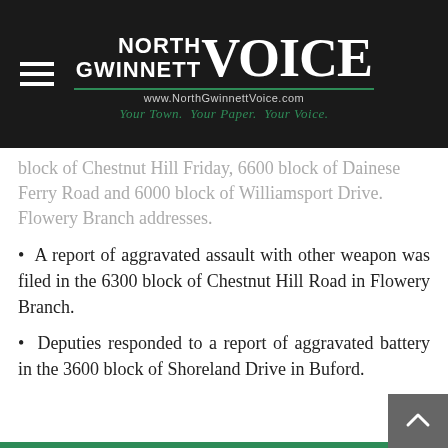North Gwinnett VOICE — www.NorthGwinnettVoice.com — Your Town. Your Paper. Your Voice.
block of Chestnut Hill Friday, 6600 block of Dainese Ferry Road and 6000 block of Williamsport Drive. Flowery Branch addresses.
• A report of aggravated assault with other weapon was filed in the 6300 block of Chestnut Hill Road in Flowery Branch.
• Deputies responded to a report of aggravated battery in the 3600 block of Shoreland Drive in Buford.